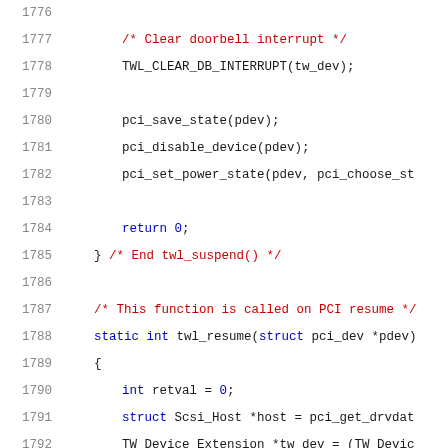Source code listing, lines 1776-1796, C kernel driver code for twl_suspend and twl_resume PCI functions